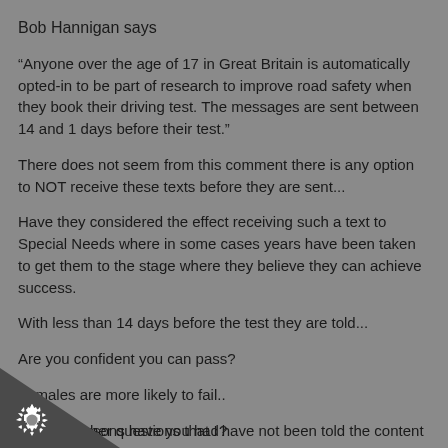Bob Hannigan says
“Anyone over the age of 17 in Great Britain is automatically opted-in to be part of research to improve road safety when they book their driving test. The messages are sent between 14 and 1 days before their test.”
There does not seem from this comment there is any option to NOT receive these texts before they are sent...
Have they considered the effect receiving such a text to Special Needs where in some cases years have been taken to get them to the stage where they believe they can achieve success.
With less than 14 days before the test they are told...
Are you confident you can pass?
Females are more likely to fail..
w many lessons have you had?
her questions that I have not been told the content